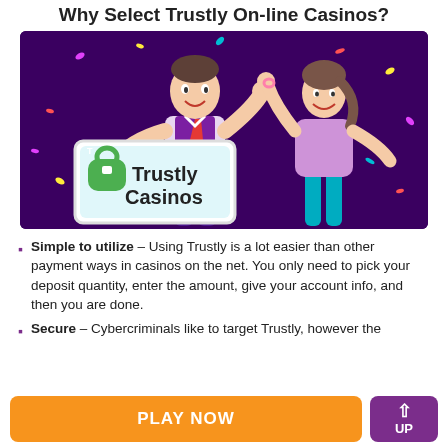Why Select Trustly On-line Casinos?
[Figure (illustration): Cartoon illustration of a man in a vest holding a sign that says 'Trustly Casinos' with a green padlock logo, and a woman celebrating with arms raised, set against a dark purple background with colorful confetti.]
Simple to utilize – Using Trustly is a lot easier than other payment ways in casinos on the net. You only need to pick your deposit quantity, enter the amount, give your account info, and then you are done.
Secure – Cybercriminals like to target Trustly, however the
PLAY NOW  UP